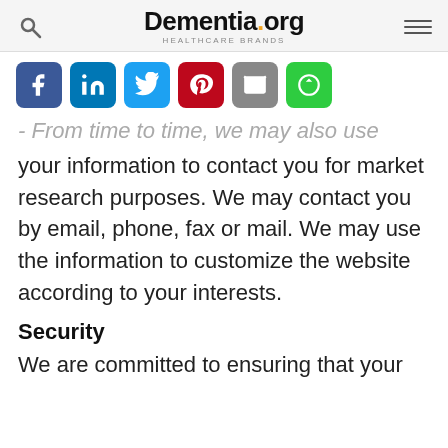Dementia.org | HEALTHCARE BRANDS
[Figure (infographic): Social sharing buttons: Facebook, LinkedIn, Twitter, Pinterest, Email, Share]
From time to time, we may also use your information to contact you for market research purposes. We may contact you by email, phone, fax or mail. We may use the information to customize the website according to your interests.
Security
We are committed to ensuring that your